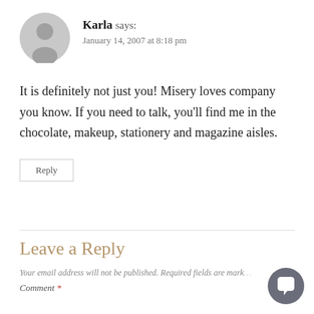[Figure (illustration): Gray circular avatar placeholder with silhouette of a person]
Karla says:
January 14, 2007 at 8:18 pm
It is definitely not just you! Misery loves company you know. If you need to talk, you'll find me in the chocolate, makeup, stationery and magazine aisles.
Reply
Leave a Reply
Your email address will not be published. Required fields are marked
Comment *